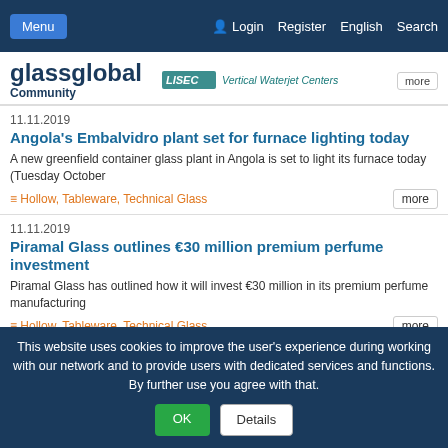Menu | Login | Register | English | Search
[Figure (logo): glassglobal Community logo and LISEC Vertical Waterjet Centers advertisement]
more
11.11.2019
Angola's Embalvidro plant set for furnace lighting today
A new greenfield container glass plant in Angola is set to light its furnace today (Tuesday October
≡ Hollow, Tableware, Technical Glass
more
11.11.2019
Piramal Glass outlines €30 million premium perfume investment
Piramal Glass has outlined how it will invest €30 million in its premium perfume manufacturing
≡ Hollow, Tableware, Technical Glass
more
This website uses cookies to improve the user's experience during working with our network and to provide users with dedicated services and functions. By further use you agree with that.